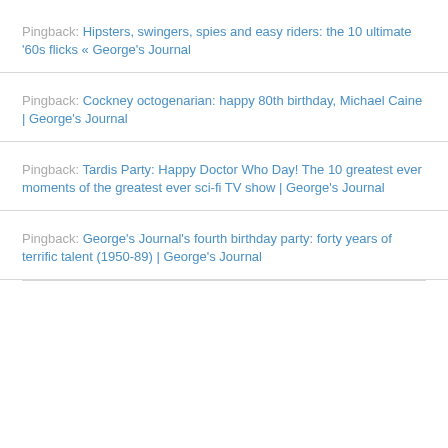Pingback: Hipsters, swingers, spies and easy riders: the 10 ultimate '60s flicks « George's Journal
Pingback: Cockney octogenarian: happy 80th birthday, Michael Caine | George's Journal
Pingback: Tardis Party: Happy Doctor Who Day! The 10 greatest ever moments of the greatest ever sci-fi TV show | George's Journal
Pingback: George's Journal's fourth birthday party: forty years of terrific talent (1950-89) | George's Journal